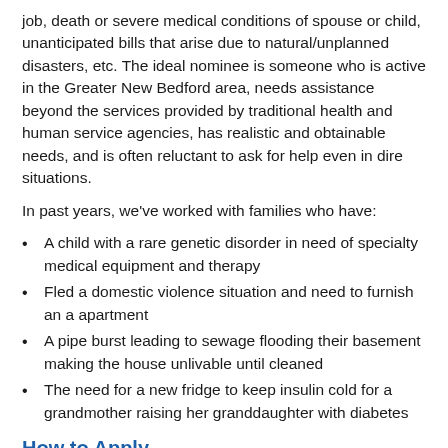job, death or severe medical conditions of spouse or child, unanticipated bills that arise due to natural/unplanned disasters, etc. The ideal nominee is someone who is active in the Greater New Bedford area, needs assistance beyond the services provided by traditional health and human service agencies, has realistic and obtainable needs, and is often reluctant to ask for help even in dire situations.
In past years, we've worked with families who have:
A child with a rare genetic disorder in need of specialty medical equipment and therapy
Fled a domestic violence situation and need to furnish an a apartment
A pipe burst leading to sewage flooding their basement making the house unlivable until cleaned
The need for a new fridge to keep insulin cold for a grandmother raising her granddaughter with diabetes
How to Apply
United Way will release an online nomination form in October seeking information about the family or individual